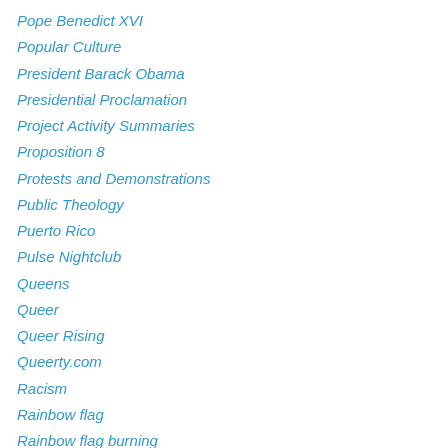Pope Benedict XVI
Popular Culture
President Barack Obama
Presidential Proclamation
Project Activity Summaries
Proposition 8
Protests and Demonstrations
Public Theology
Puerto Rico
Pulse Nightclub
Queens
Queer
Queer Rising
Queerty.com
Racism
Rainbow flag
Rainbow flag burning
Rainbow Lounge Raid
rape
Reconciliation